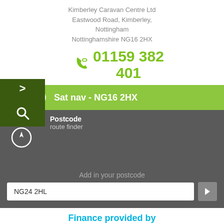Kimberley Caravan Centre Ltd
Eastwood Road, Kimberley,
Nottingham
Nottinghamshire NG16 2HX
01159 382 401
Sat nav - NG16 2HX
Postcode
route finder
Add in your postcode
NG24 2HL
Finance provided by
blackhorse